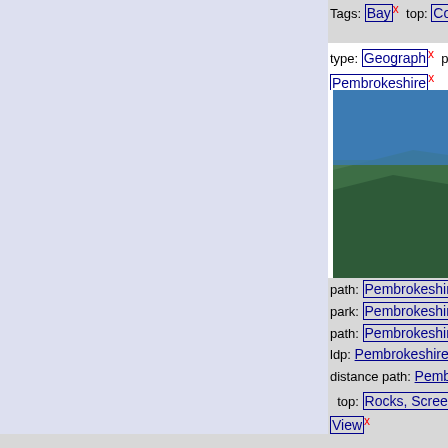Tags: Bay x  top: Coastal x
type: Geograph x  place: Pe...
Pembrokeshire x
[Figure (photo): Coastal cliff scene with green vegetation and blue sea, Pembrokeshire Wales]
path: Pembrokeshire Coast
park: Pembrokeshire Coast
path: Pembrokeshire Coast
ldp: Pembrokeshire Coast P
distance path: Pembrokeshi
top: Rocks, Scree, Cliffs x
View x
Cat Rock from the west
Christopher Hilton
geograph for square SN0
Tags: Bay x  top: Coastal x
type: Geograph x  place: Pe...
Pembrokeshire x  national
park: Pembrokeshire Coast
path: Pembrokeshire Coast
path: Pembrokeshire Coast
[Figure (photo): Coastal cliff landscape with bay view, Pembrokeshire Wales]